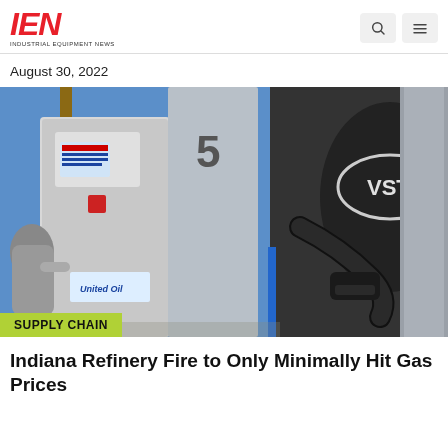IEN — Industrial Equipment News
August 30, 2022
[Figure (photo): Close-up photo of a gas station pump with a black VST vapor recovery nozzle in the foreground. A numbered pump panel showing '5' is visible, along with a person in a gray hoodie pumping gas to the left. United Oil branding is visible on the pump. Blue sky in the background.]
SUPPLY CHAIN
Indiana Refinery Fire to Only Minimally Hit Gas Prices